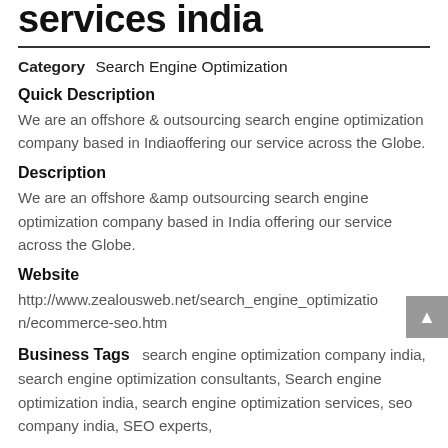services india
Category   Search Engine Optimization
Quick Description
We are an offshore & outsourcing search engine optimization company based in Indiaoffering our service across the Globe.
Description
We are an offshore &amp outsourcing search engine optimization company based in India offering our service across the Globe.
Website
http://www.zealousweb.net/search_engine_optimization/ecommerce-seo.htm
Business Tags
search engine optimization company india, search engine optimization consultants, Search engine optimization india, search engine optimization services, seo company india, SEO experts,